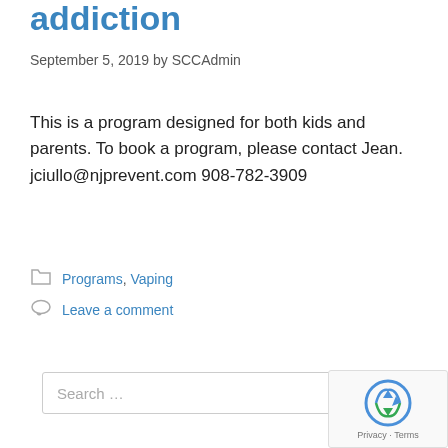addiction
September 5, 2019 by SCCAdmin
This is a program designed for both kids and parents. To book a program, please contact Jean. jciullo@njprevent.com 908-782-3909
Programs, Vaping
Leave a comment
Search …